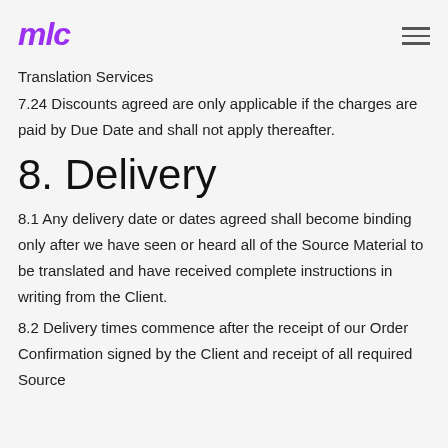mlc
Translation Services
7.24 Discounts agreed are only applicable if the charges are paid by Due Date and shall not apply thereafter.
8. Delivery
8.1 Any delivery date or dates agreed shall become binding only after we have seen or heard all of the Source Material to be translated and have received complete instructions in writing from the Client.
8.2 Delivery times commence after the receipt of our Order Confirmation signed by the Client and receipt of all required Source